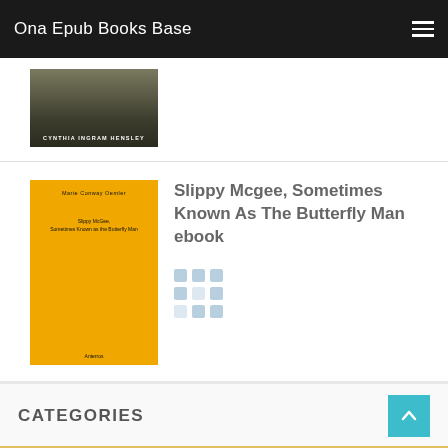Ona Epub Books Base
[Figure (illustration): Partial book cover showing author name CYNTHIA INGRAM HENSLEY on dark background, cropped at top]
Slippy Mcgee, Sometimes Known As The Butterfly Man ebook
[Figure (illustration): Orange book cover for 'Slippy McGee, Sometimes Known as the Butterfly Man' by Marie Conway Oemler, published by Anterros]
[Figure (other): Loading spinner dots - 3x3 grid of light blue rounded squares]
CATEGORIES